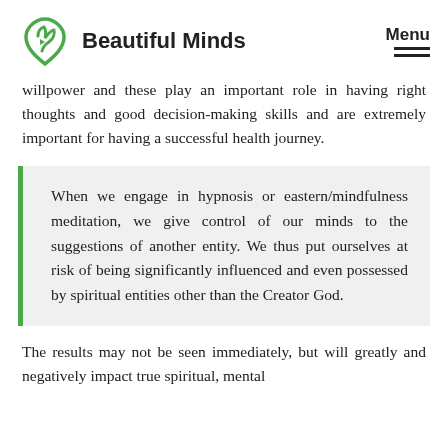Beautiful Minds  Menu
willpower and these play an important role in having right thoughts and good decision-making skills and are extremely important for having a successful health journey.
When we engage in hypnosis or eastern/mindfulness meditation, we give control of our minds to the suggestions of another entity. We thus put ourselves at risk of being significantly influenced and even possessed by spiritual entities other than the Creator God.
The results may not be seen immediately, but will greatly and negatively impact true spiritual, mental